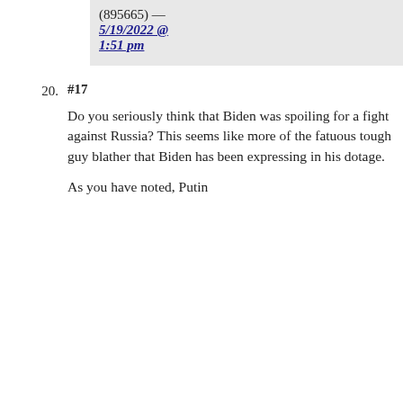(895665) — 5/19/2022 @ 1:51 pm
20. #17

Do you seriously think that Biden was spoiling for a fight against Russia? This seems like more of the fatuous tough guy blather that Biden has been expressing in his dotage.

As you have noted, Putin